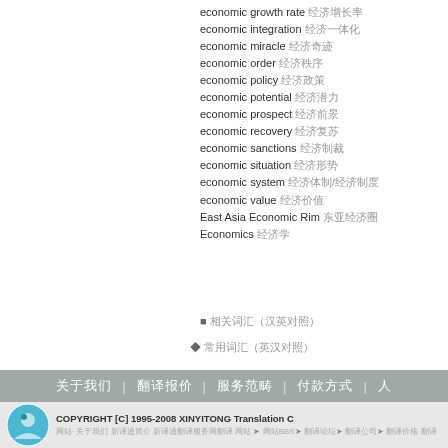economic growth rate 经济增长率
economic integration 经济一体化
economic miracle 经济奇迹
economic order 经济秩序
economic policy 经济政策
economic potential 经济潜力
economic prospect 经济前景
economic recovery 经济复苏
economic sanctions 经济制裁
economic situation 经济形势
economic system 经济体制/经济制度
economic value 经济价值
East Asia Economic Rim 东亚经济圈
Economics 经济学
■ 相关词汇（汉英对照）
◆ 常用词汇（英汉对照）
关于我们 | 翻译报价 | 服务范畴 | 付款方式 | 人才招聘
COPYRIGHT [C] 1995-2008 XINYITONG Translation C
网站· 关于我们 新译通简介 新译通翻译服务网翻译 网站BBS翻译论坛 翻译公司 翻译价格 翻译